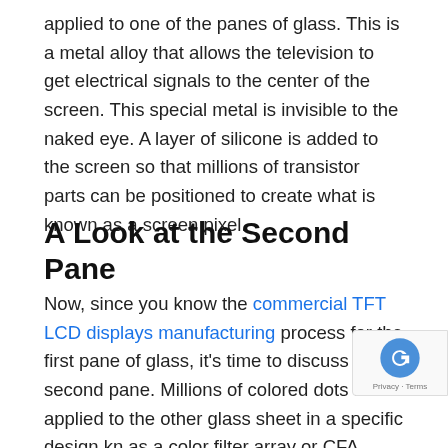applied to one of the panes of glass. This is a metal alloy that allows the television to get electrical signals to the center of the screen. This special metal is invisible to the naked eye. A layer of silicone is added to the screen so that millions of transistor parts can be positioned to create what is known as a screen pixel.
A Look at the Second Pane
Now, since you know the commercial TFT LCD displays manufacturing process for the first pane of glass, it's time to discuss the second pane. Millions of colored dots are applied to the other glass sheet in a specific design known as a color filter array or CFA. These colors are blue, green, and red. When the light shines through specific colors, it